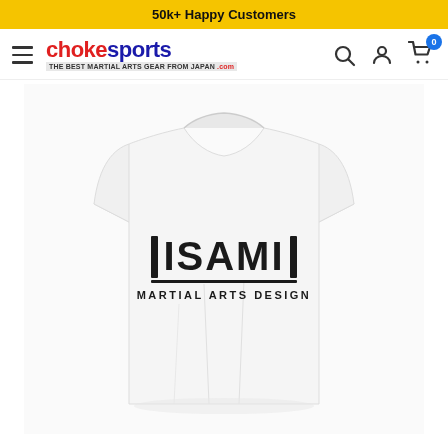50k+ Happy Customers
[Figure (logo): Choke Sports logo - red 'choke' and blue 'sports' text with tagline 'THE BEST MARTIAL ARTS GEAR FROM JAPAN .com']
[Figure (photo): White ISAMI Martial Arts Design t-shirt on white/yellow background, with ISAMI MARTIAL ARTS DESIGN text printed on the chest]